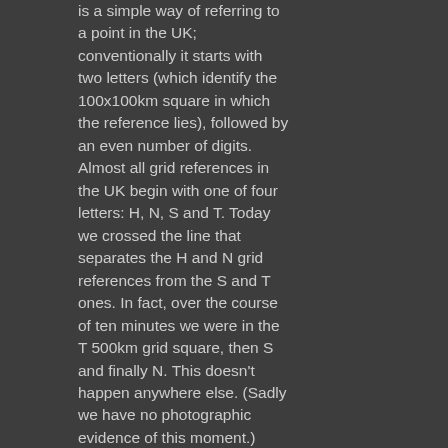is a simple way of referring to a point in the UK; conventionally it starts with two letters (which identify the 100x100km square in which the reference lies), followed by an even number of digits. Almost all grid references in the UK begin with one of four letters: H, N, S and T. Today we crossed the line that separates the H and N grid references from the S and T ones. In fact, over the course of ten minutes we were in the T 500km grid square, then S and finally N. This doesn't happen anywhere else. (Sadly we have no photographic evidence of this moment.)
More exciting than that is the fact that a tiny spot of land at the base Beast Cliff just south of Ravenscar has the distinction of being the only place in the UK with a grid reference that doesn't start with one of those letters. OV 000000, we came so close to you but failed to pay you a visit. I'm sorry.
As for the path, it's been a good day